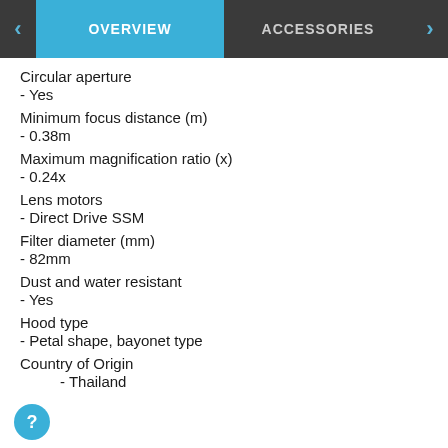OVERVIEW | ACCESSORIES
Circular aperture
- Yes
Minimum focus distance (m)
- 0.38m
Maximum magnification ratio (x)
- 0.24x
Lens motors
- Direct Drive SSM
Filter diameter (mm)
- 82mm
Dust and water resistant
- Yes
Hood type
- Petal shape, bayonet type
Country of Origin
- Thailand